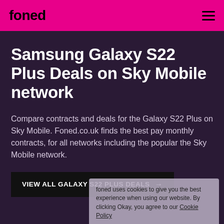foned
Samsung Galaxy S22 Plus Deals on Sky Mobile network
Compare contracts and deals for the Galaxy S22 Plus on Sky Mobile. Foned.co.uk finds the best pay monthly contracts, for all networks including the popular the Sky Mobile network.
VIEW ALL GALAXY S22 PLUS DEALS →
foned uses cookies to give you the best experience when using our website. By clicking Okay, you agree to our Cookie Policy
Okay